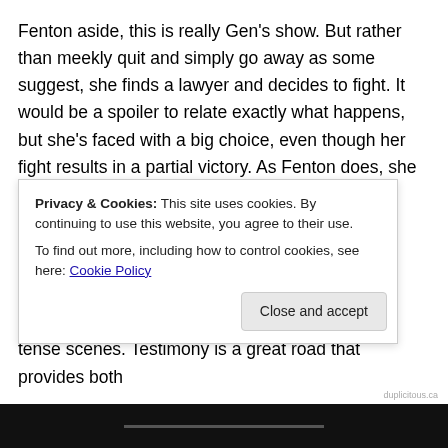Fenton aside, this is really Gen's show. But rather than meekly quit and simply go away as some suggest, she finds a lawyer and decides to fight. It would be a spoiler to relate exactly what happens, but she's faced with a big choice, even though her fight results in a partial victory. As Fenton does, she devises a resolution that may not be ideal, but neither does she lose as much as many in her position have.
Full of fine characters, heartfelt decisions, and gripping, tense scenes. Testimony is a great road that provides both
Privacy & Cookies: This site uses cookies. By continuing to use this website, you agree to their use.
To find out more, including how to control cookies, see here: Cookie Policy
Close and accept